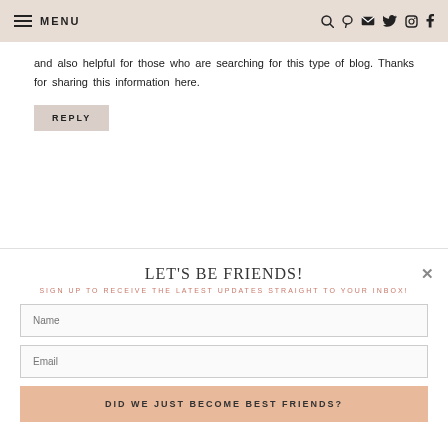MENU (navigation icons: search, pinterest, email, twitter, instagram, facebook)
and also helpful for those who are searching for this type of blog. Thanks for sharing this information here.
REPLY
LET'S BE FRIENDS!
SIGN UP TO RECEIVE THE LATEST UPDATES STRAIGHT TO YOUR INBOX!
Name
Email
DID WE JUST BECOME BEST FRIENDS?